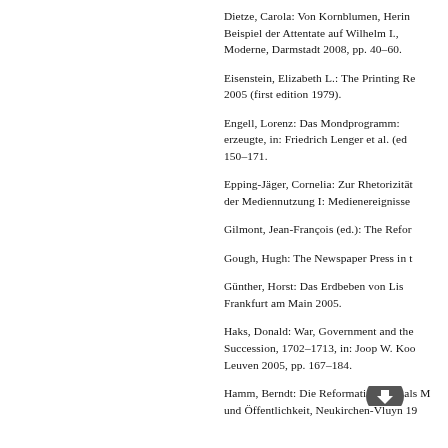Dietze, Carola: Von Kornblumen, Herin... Beispiel der Attentate auf Wilhelm I., Moderne, Darmstadt 2008, pp. 40–60.
Eisenstein, Elizabeth L.: The Printing Re... 2005 (first edition 1979).
Engell, Lorenz: Das Mondprogramm:... erzeugte, in: Friedrich Lenger et al. (ed... 150–171.
Epping-Jäger, Cornelia: Zur Rhetorizität... der Mediennutzung I: Medienereignisse...
Gilmont, Jean-François (ed.): The Refor...
Gough, Hugh: The Newspaper Press in t...
Günther, Horst: Das Erdbeben von Lis... Frankfurt am Main 2005.
Haks, Donald: War, Government and the... Succession, 1702–1713, in: Joop W. Koo... Leuven 2005, pp. 167–184.
Hamm, Berndt: Die Reformati... als M... und Öffentlichkeit, Neukirchen-Vluyn 19...